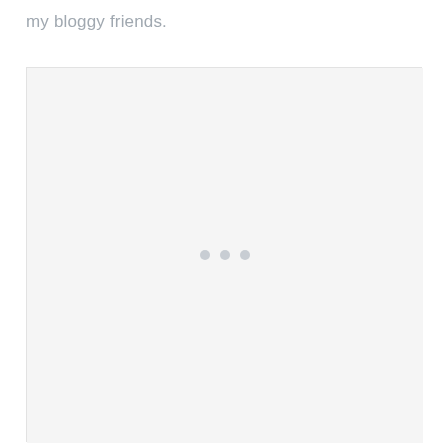my bloggy friends.
[Figure (other): A light gray placeholder image box with three small dots centered inside, indicating a loading or missing image state.]